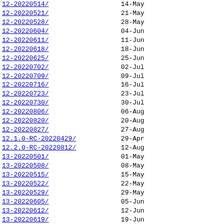12-20220514/	14-May
12-20220521/	21-May
12-20220528/	28-May
12-20220604/	04-Jun
12-20220611/	11-Jun
12-20220618/	18-Jun
12-20220625/	25-Jun
12-20220702/	02-Jul
12-20220709/	09-Jul
12-20220716/	16-Jul
12-20220723/	23-Jul
12-20220730/	30-Jul
12-20220806/	06-Aug
12-20220820/	20-Aug
12-20220827/	27-Aug
12.1.0-RC-20220429/	29-Apr
12.2.0-RC-20220812/	12-Aug
13-20220501/	01-May
13-20220508/	08-May
13-20220515/	15-May
13-20220522/	22-May
13-20220529/	29-May
13-20220605/	05-Jun
13-20220612/	12-Jun
13-20220619/	19-Jun
13-20220626/	26-Jun
13-20220703/	03-Jul
13-20220710/	10-Jul
13-20220717/	17-Jul
13-20220724/	24-Jul